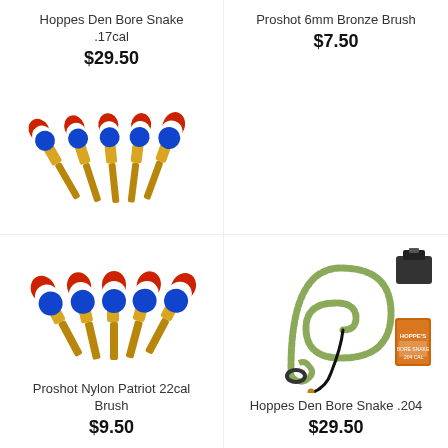Hoppes Den Bore Snake .17cal
$29.50
[Figure (photo): Five red, white, and blue bore cleaning brushes with brass handles arranged side by side]
Proshot 6mm Bronze Brush
$7.50
Proshot Nylon Patriot 22cal Brush
$9.50
[Figure (photo): Green braided bore snake coiled on white background with black adapter and Hoppe's cleaning patch box]
Hoppes Den Bore Snake .204
$29.50